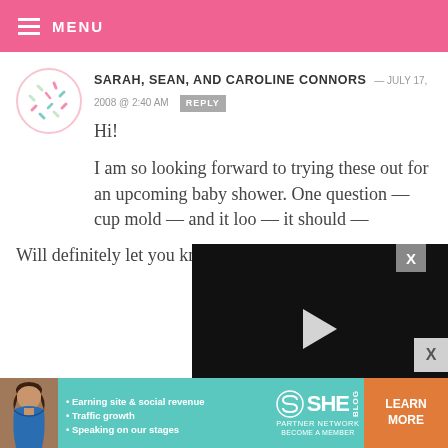MENU
SARAH, SEAN, AND CAROLINE CONNORS — JULY 17, 2008 @ 2:40 AM  REPLY
Hi!

I am so looking forward to trying these out for an upcoming baby shower. One question — cup mold — and it loo — it should —

Will definitely let you know how it
[Figure (screenshot): Video player overlay showing black video frame with play button, progress bar, and controls showing 13:52 timestamp]
[Figure (infographic): SHE Partner Network advertisement banner with teal background, woman photo, bullet points for Earning site & social revenue, Traffic growth, Speaking on our stages, SHE logo, and LEARN MORE button]